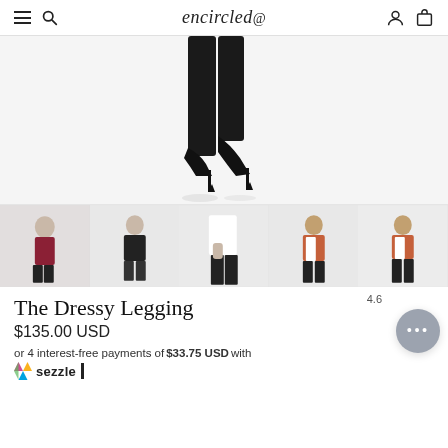encircled
[Figure (photo): Close-up view of a person's legs wearing black dressy leggings with black high-heel stiletto pumps, walking against a white background.]
[Figure (photo): Thumbnail row: 1) Woman in burgundy top and black leggings, 2) Woman in black blazer and dark pants, 3) Close-up of hand in dark pants pocket, 4) Woman in coral blazer with white shirt and black leggings, 5) Woman in coral jacket and black leggings.]
The Dressy Legging
$135.00 USD
or 4 interest-free payments of $33.75 USD with sezzle